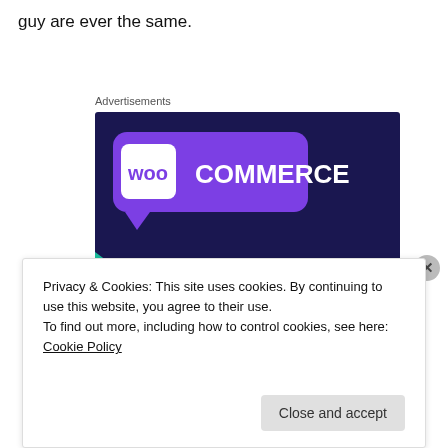guy are ever the same.
Advertisements
[Figure (illustration): WooCommerce advertisement banner with dark purple background, WooCommerce logo in purple speech bubble, green triangle shape on left, light blue circle on right, white bold text reading 'Turn your hobby into a business in 8 steps']
Privacy & Cookies: This site uses cookies. By continuing to use this website, you agree to their use.
To find out more, including how to control cookies, see here: Cookie Policy
Close and accept